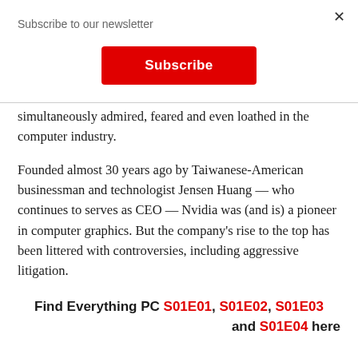Subscribe to our newsletter
[Figure (other): Red Subscribe button]
simultaneously admired, feared and even loathed in the computer industry.
Founded almost 30 years ago by Taiwanese-American businessman and technologist Jensen Huang — who continues to serves as CEO — Nvidia was (and is) a pioneer in computer graphics. But the company's rise to the top has been littered with controversies, including aggressive litigation.
Find Everything PC S01E01, S01E02, S01E03 and S01E04 here